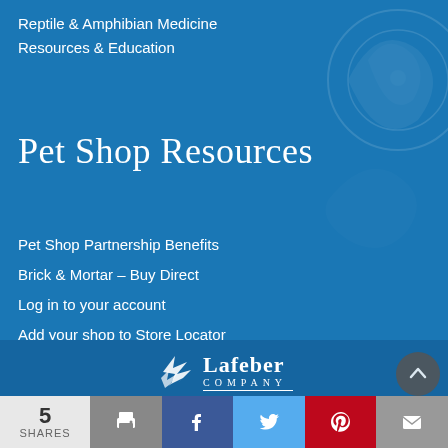Reptile & Amphibian Medicine
Resources & Education
Pet Shop Resources
Pet Shop Partnership Benefits
Brick & Mortar – Buy Direct
Log in to your account
Add your shop to Store Locator
[Figure (logo): Lafeber Company logo with bird icon and company name]
Lafeber Company · Cornell, IL USA · Phone: 815-888-4040 · Toll Free: 1-800-842-6445 · Email: customerservice@lafeber.com
5 SHARES
[Figure (infographic): Social share bar with print, Facebook, Twitter, Pinterest, and email buttons]